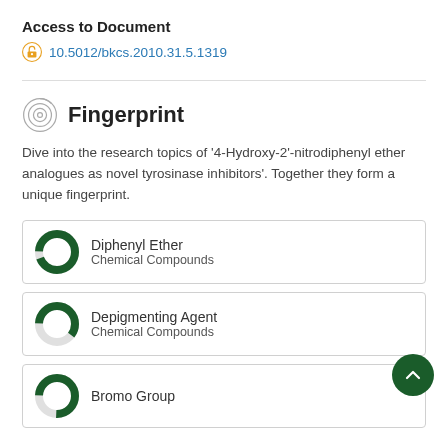Access to Document
10.5012/bkcs.2010.31.5.1319
Fingerprint
Dive into the research topics of '4-Hydroxy-2'-nitrodiphenyl ether analogues as novel tyrosinase inhibitors'. Together they form a unique fingerprint.
Diphenyl Ether
Chemical Compounds
Depigmenting Agent
Chemical Compounds
Bromo Group